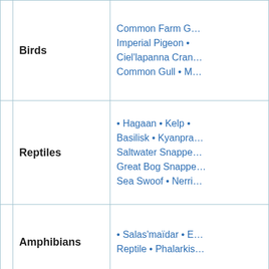|  | Category | Species |
| --- | --- | --- |
|  | Birds | Common Farm G... Imperial Pigeon • ... Ciel'lapanna Cran... Common Gull • M... |
|  | Reptiles | • Hagaan • Kelp • ... Basilisk • Kyanpra... Saltwater Snappe... Great Bog Snappe... Sea Swoof • Nerri... |
|  | Amphibians | • Salas'maïdar • E... Reptile • Phalarkis... |
|  | Fish | • Barnacle Trout • ... Cracker • Whale C... Great Reef Masso... • Hadar Island Cra... |
|  | Arthropods | • Bugutza • Saruh... Grand Papillon • F... Torat-Nekh • Ant ... Beetle • Fârekrud... |